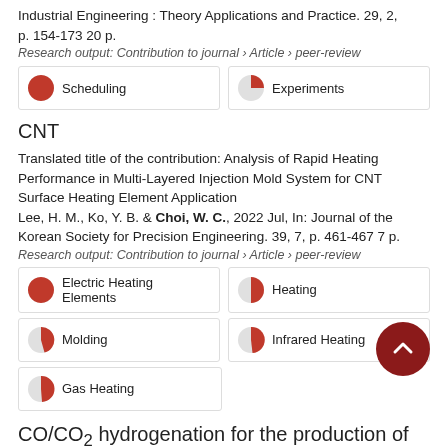Industrial Engineering : Theory Applications and Practice. 29, 2, p. 154-173 20 p.
Research output: Contribution to journal › Article › peer-review
Scheduling
Experiments
CNT
Translated title of the contribution: Analysis of Rapid Heating Performance in Multi-Layered Injection Mold System for CNT Surface Heating Element Application
Lee, H. M., Ko, Y. B. & Choi, W. C., 2022 Jul, In: Journal of the Korean Society for Precision Engineering. 39, 7, p. 461-467 7 p.
Research output: Contribution to journal › Article › peer-review
Electric Heating Elements
Heating
Molding
Infrared Heating
Gas Heating
CO/CO₂ hydrogenation for the production of lighter